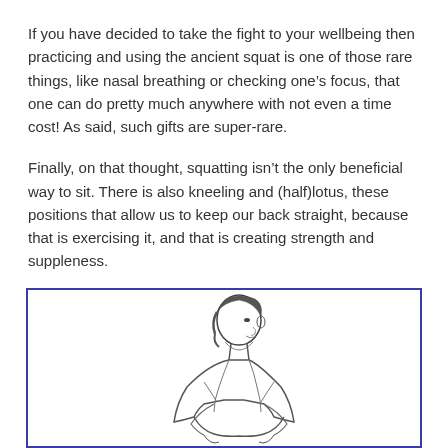If you have decided to take the fight to your wellbeing then practicing and using the ancient squat is one of those rare things, like nasal breathing or checking one's focus, that one can do pretty much anywhere with not even a time cost! As said, such gifts are super-rare.
Finally, on that thought, squatting isn't the only beneficial way to sit. There is also kneeling and (half)lotus, these positions that allow us to keep our back straight, because that is exercising it, and that is creating strength and suppleness.
[Figure (illustration): Black and white line drawing illustration of a person (appears to be in traditional/loose clothing) in a squatting or seated position, upper body visible, viewed from the side, with dark hair.]